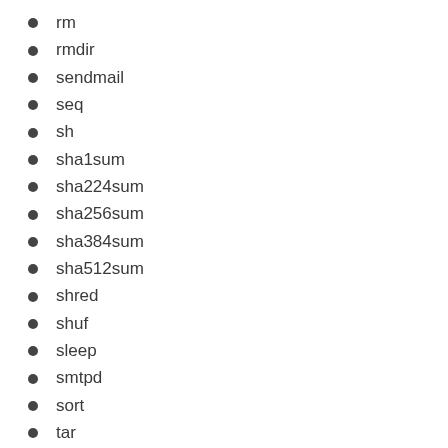rm
rmdir
sendmail
seq
sh
sha1sum
sha224sum
sha256sum
sha384sum
sha512sum
shred
shuf
sleep
smtpd
sort
tar
tee